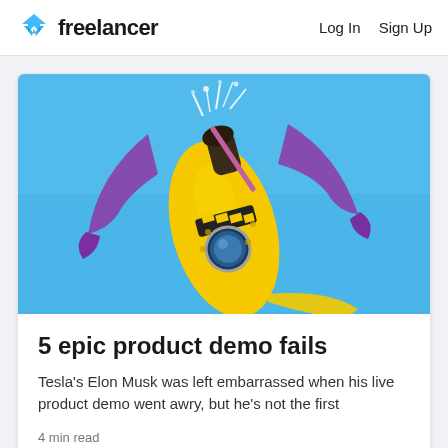Freelancer | Log In  Sign Up
[Figure (photo): 3D rendered yellow submarine/rocket-like object with purple claw arms and sparks, on a blue background]
5 epic product demo fails
Tesla's Elon Musk was left embarrassed when his live product demo went awry, but he's not the first
4 min read